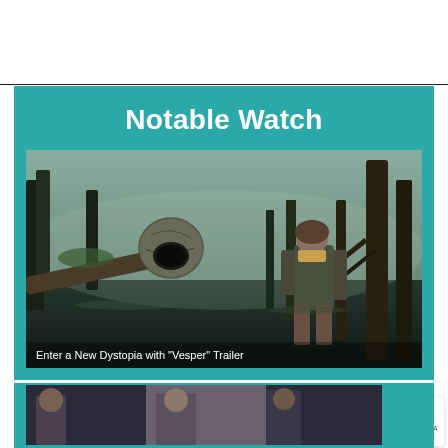Notable Watch
[Figure (photo): A dystopian swamp scene showing a young person in tattered clothing standing in dark water surrounded by trees and fog, with a floating spherical robot/creature nearby. Caption reads: Enter a New Dystopia with "Vesper" Trailer]
Enter a New Dystopia with "Vesper" Trailer
[Figure (photo): Bottom strip showing partial images of what appears to be a film or TV scene with two figures visible]